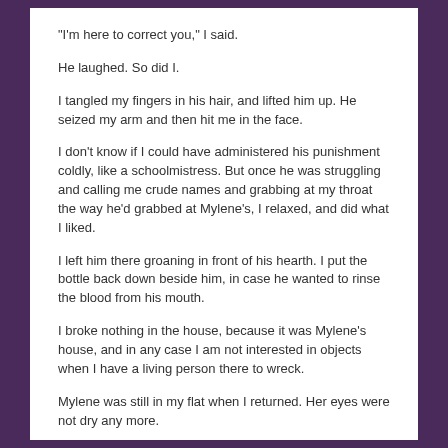"I'm here to correct you," I said.
He laughed. So did I.
I tangled my fingers in his hair, and lifted him up. He seized my arm and then hit me in the face.
I don't know if I could have administered his punishment coldly, like a schoolmistress. But once he was struggling and calling me crude names and grabbing at my throat the way he'd grabbed at Mylene's, I relaxed, and did what I liked.
I left him there groaning in front of his hearth. I put the bottle back down beside him, in case he wanted to rinse the blood from his mouth.
I broke nothing in the house, because it was Mylene's house, and in any case I am not interested in objects when I have a living person there to wreck.
Mylene was still in my flat when I returned. Her eyes were not dry any more.
"Jesus," she said. "Are you okay?"